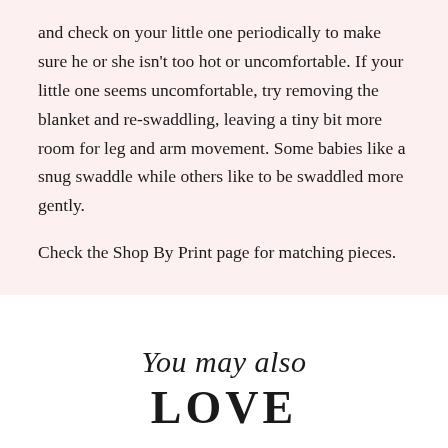and check on your little one periodically to make sure he or she isn't too hot or uncomfortable. If your little one seems uncomfortable, try removing the blanket and re-swaddling, leaving a tiny bit more room for leg and arm movement. Some babies like a snug swaddle while others like to be swaddled more gently.
Check the Shop By Print page for matching pieces.
You may also LOVE